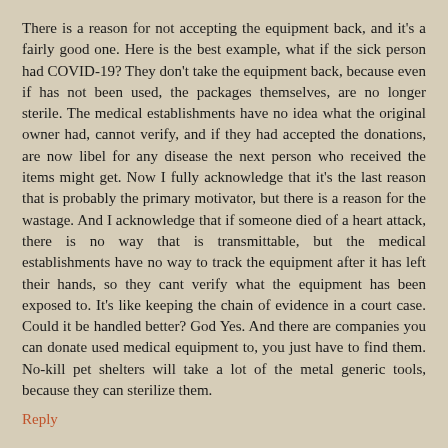There is a reason for not accepting the equipment back, and it's a fairly good one. Here is the best example, what if the sick person had COVID-19? They don't take the equipment back, because even if has not been used, the packages themselves, are no longer sterile. The medical establishments have no idea what the original owner had, cannot verify, and if they had accepted the donations, are now libel for any disease the next person who received the items might get. Now I fully acknowledge that it's the last reason that is probably the primary motivator, but there is a reason for the wastage. And I acknowledge that if someone died of a heart attack, there is no way that is transmittable, but the medical establishments have no way to track the equipment after it has left their hands, so they cant verify what the equipment has been exposed to. It's like keeping the chain of evidence in a court case. Could it be handled better? God Yes. And there are companies you can donate used medical equipment to, you just have to find them. No-kill pet shelters will take a lot of the metal generic tools, because they can sterilize them.
Reply